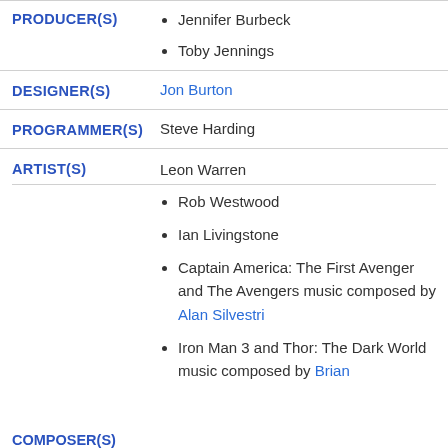Jennifer Burbeck
Toby Jennings
PRODUCER(S)
DESIGNER(S) — Jon Burton
PROGRAMMER(S) — Steve Harding
ARTIST(S) — Leon Warren
Rob Westwood
Ian Livingstone
Captain America: The First Avenger and The Avengers music composed by Alan Silvestri
Iron Man 3 and Thor: The Dark World music composed by Brian
COMPOSER(S)